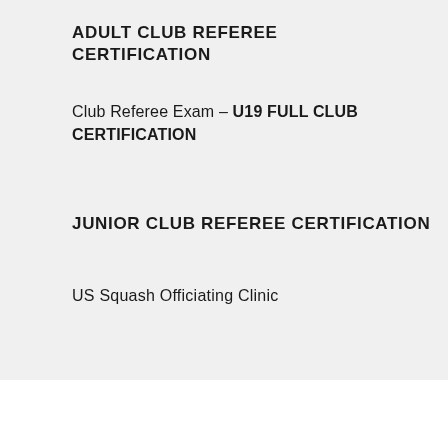ADULT CLUB REFEREE CERTIFICATION
Club Referee Exam – U19 FULL CLUB CERTIFICATION
JUNIOR CLUB REFEREE CERTIFICATION
US Squash Officiating Clinic